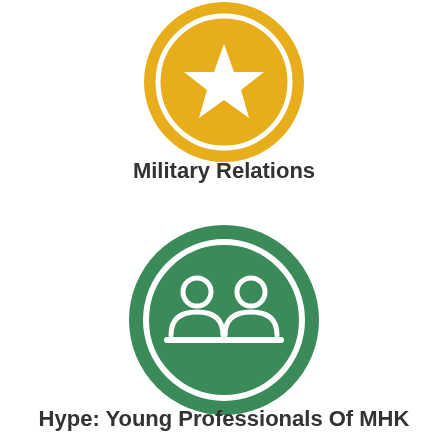[Figure (illustration): Gold/yellow circle icon with a white star symbol inside, representing Military Relations]
Military Relations
[Figure (illustration): Green circle icon with white two-person/group silhouette symbol inside, representing Hype: Young Professionals Of MHK]
Hype: Young Professionals Of MHK